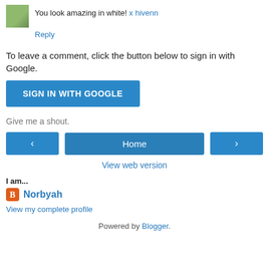You look amazing in white! x hivenn
Reply
To leave a comment, click the button below to sign in with Google.
[Figure (other): Blue SIGN IN WITH GOOGLE button]
Give me a shout.
[Figure (other): Navigation bar with left arrow, Home button, and right arrow]
View web version
I am...
Norbyah
View my complete profile
Powered by Blogger.